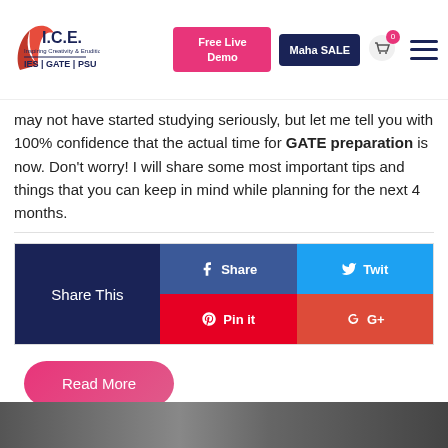I.C.E. IES|GATE|PSU — Free Live Demo | Maha SALE
may not have started studying seriously, but let me tell you with 100% confidence that the actual time for GATE preparation is now. Don't worry! I will share some most important tips and things that you can keep in mind while planning for the next 4 months.
[Figure (infographic): Share This widget with Facebook Share, Twitter Twit, Pinterest Pin it, and Google+ buttons]
[Figure (other): Read More button — pink rounded pill button]
[Figure (photo): Bottom image strip, partially visible dark image]